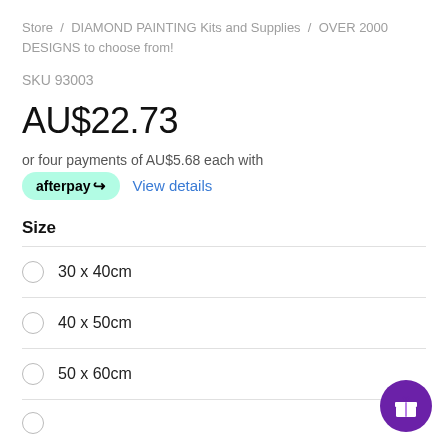Store  /  DIAMOND PAINTING Kits and Supplies  /  OVER 2000 DESIGNS to choose from!
SKU 93003
AU$22.73
or four payments of AU$5.68 each with
[Figure (logo): Afterpay logo badge in mint green rounded rectangle]
View details
Size
30 x 40cm
40 x 50cm
50 x 60cm